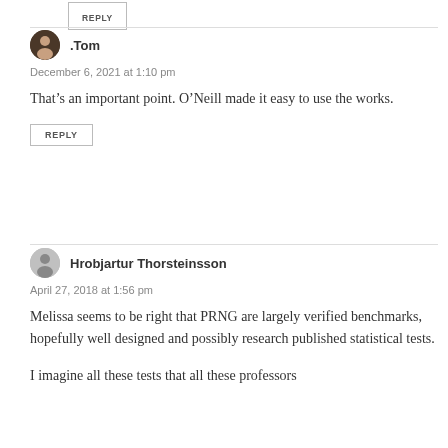[Figure (other): Reply button at top of page (partial, cropped)]
.Tom
December 6, 2021 at 1:10 pm
That’s an important point. O’Neill made it easy to use the works.
REPLY
Hrobjartur Thorsteinsson
April 27, 2018 at 1:56 pm
Melissa seems to be right that PRNG are largely verified benchmarks, hopefully well designed and possibly research published statistical tests.
I imagine all these tests that all these professors